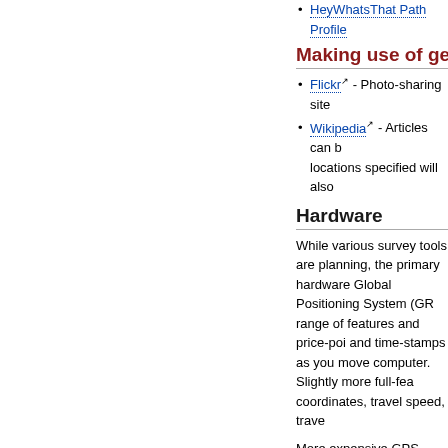HeyWhatsThat Path Profile
Making use of geo-spa
Flickr - Photo-sharing site
Wikipedia - Articles can b... locations specified will also
Hardware
While various survey tools are planning, the primary hardware Global Positioning System (GR range of features and price-poi and time-stamps as you move computer. Slightly more full-fea coordinates, travel speed, trave
More expensive GPS receivers built in maps, driving directions
This page was last edited on 19 November 2009, at 09:55.
Privacy policy
About Library & ITS Wiki
Disclaimers